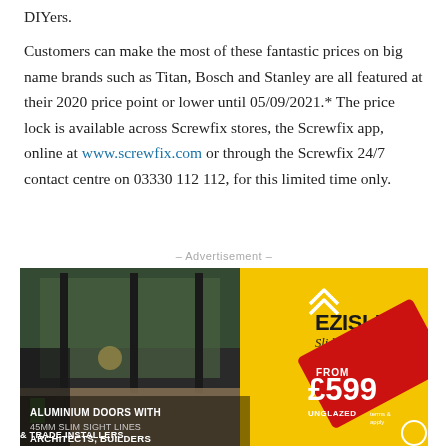DIYers.
Customers can make the most of these fantastic prices on big name brands such as Titan, Bosch and Stanley are all featured at their 2020 price point or lower until 05/09/2021.* The price lock is available across Screwfix stores, the Screwfix app, online at www.screwfix.com or through the Screwfix 24/7 contact centre on 03330 112 112, for this limited time only.
– Advertisement –
[Figure (photo): Advertisement for EZISLIDE Sliding door range showing aluminium sliding doors with 45mm slim sight lines, yellow background with EZISLIDE branding, price tag showing FROM £599 UNGLAZED, targeting Architects, Builders & Trade Installers]